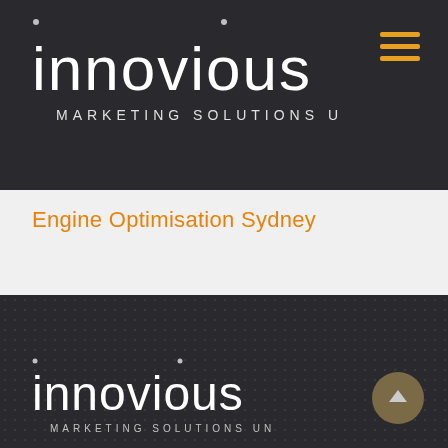[Figure (logo): Innovious logo - white text on dark background with 'MARKETING SOLUTIONS UNLEASHED' tagline, top header]
[Figure (infographic): Hamburger menu icon with three orange horizontal lines]
Engine Optimisation Sydney
[Figure (logo): Innovious logo - white text on dark background with 'MARKETING SOLUTIONS UNLEASHED' tagline, footer]
[Figure (infographic): Scroll to top circular button with upward arrow]